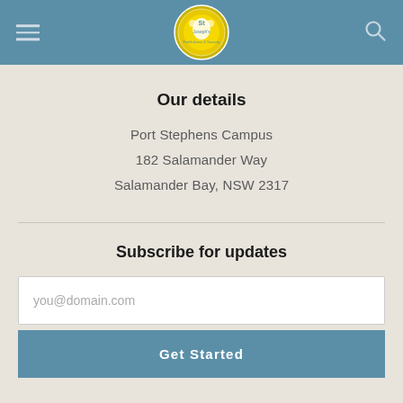[Figure (logo): Circular school crest/logo with yellow and white design on blue header background]
Our details
Port Stephens Campus
182 Salamander Way
Salamander Bay, NSW 2317
Subscribe for updates
you@domain.com
Get Started